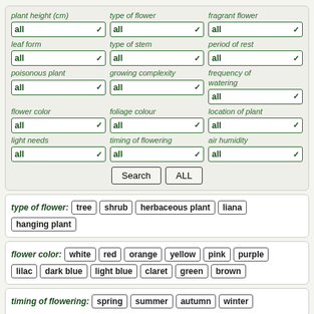plant height (cm): all | type of flower: all | fragrant flower: all | leaf form: all | type of stem: all | period of rest: all | poisonous plant: all | growing complexity: all | frequency of watering: all | flower color: all | foliage colour: all | location of plant: all | light needs: all | timing of flowering: all | air humidity: all
type of flower: tree shrub herbaceous plant liana hanging plant
flower color: white red orange yellow pink purple lilac dark blue light blue claret green brown
timing of flowering: spring summer autumn winter